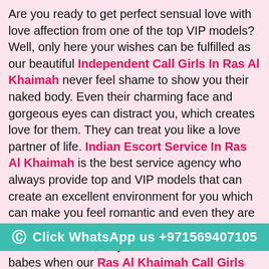Are you ready to get perfect sensual love with love affection from one of the top VIP models? Well, only here your wishes can be fulfilled as our beautiful Independent Call Girls In Ras Al Khaimah never feel shame to show you their naked body. Even their charming face and gorgeous eyes can distract you, which creates love for them. They can treat you like a love partner of life. Indian Escort Service In Ras Al Khaimah is the best service agency who always provide top and VIP models that can create an excellent environment for you which can make you feel romantic and even they are ready to give you high quality of enjoyment and total satisfaction, so you never look for other babes when our Ras Al Khaimah Call Girls Escorts are prepared to make you feel delightful. They provide fabulous and mind-blowing fun, which gives you perfect entertainment. Even many clients need massage service from their love charms to make you feel relaxed and give a full body massage to you. Massage services like a female male massage,
Click WhatsApp us +971569407105